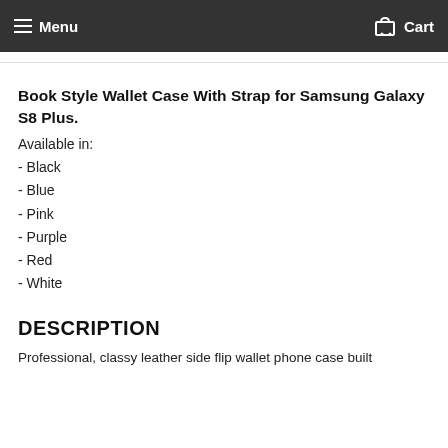Menu  Cart
Book Style Wallet Case With Strap for Samsung Galaxy S8 Plus.
Available in:
- Black
- Blue
- Pink
- Purple
- Red
- White
DESCRIPTION
Professional, classy leather side flip wallet phone case built